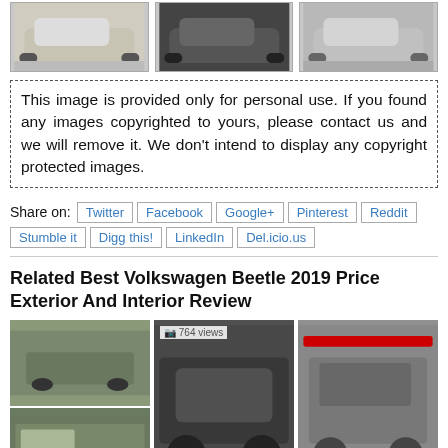[Figure (photo): Three Volkswagen Beetle car photos in a row at top of page]
This image is provided only for personal use. If you found any images copyrighted to yours, please contact us and we will remove it. We don't intend to display any copyright protected images.
Share on: Twitter | Facebook | Google+ | Pinterest | Reddit | Stumble it | Digg this! | LinkedIn | Del.icio.us
Related Best Volkswagen Beetle 2019 Price Exterior And Interior Review
[Figure (photo): Toyota Hiace 2019 interior photos (two stacked)]
[Figure (photo): 2020 Audi R8 Price - 764 views]
[Figure (photo): Hyundai G80 2020 camouflaged spy shot]
Toyota Hiace 2019
2020 Audi R8 Price
Hyundai G80 2020